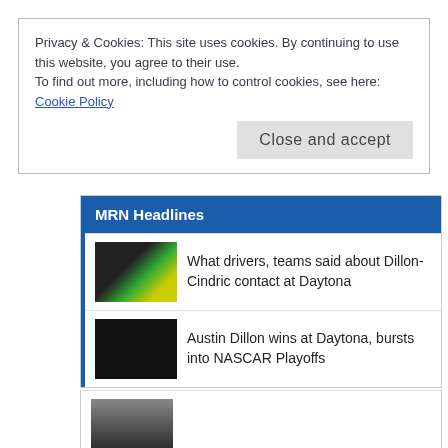Privacy & Cookies: This site uses cookies. By continuing to use this website, you agree to their use.
To find out more, including how to control cookies, see here:
Cookie Policy
Close and accept
MRN Headlines
What drivers, teams said about Dillon-Cindric contact at Daytona
Austin Dillon wins at Daytona, bursts into NASCAR Playoffs
Cup Series Playoffs field is set